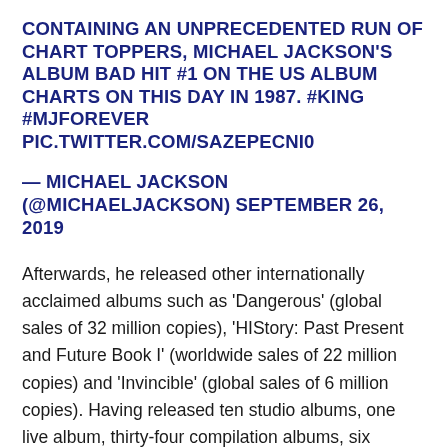CONTAINING AN UNPRECEDENTED RUN OF CHART TOPPERS, MICHAEL JACKSON'S ALBUM BAD HIT #1 ON THE US ALBUM CHARTS ON THIS DAY IN 1987. #KING #MJFOREVER PIC.TWITTER.COM/SAZEPECNI0
— MICHAEL JACKSON (@MICHAELJACKSON) SEPTEMBER 26, 2019
Afterwards, he released other internationally acclaimed albums such as 'Dangerous' (global sales of 32 million copies), 'HIStory: Past Present and Future Book I' (worldwide sales of 22 million copies) and 'Invincible' (global sales of 6 million copies). Having released ten studio albums, one live album, thirty-four compilation albums, six extended plays,